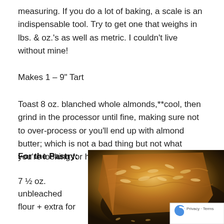measuring. If you do a lot of baking, a scale is an indispensable tool. Try to get one that weighs in lbs. & oz.'s as well as metric. I couldn't live without mine!
Makes 1 – 9" Tart
Toast 8 oz. blanched whole almonds,**cool, then grind in the processor until fine, making sure not to over-process or you'll end up with almond butter; which is not a bad thing but not what you're looking for here!
For the Pastry:
7 ½ oz.
unbleached
flour + extra for
[Figure (photo): Close-up photo of a golden-brown almond tart on a dark plate, with a recaptcha badge overlay in the bottom right corner.]